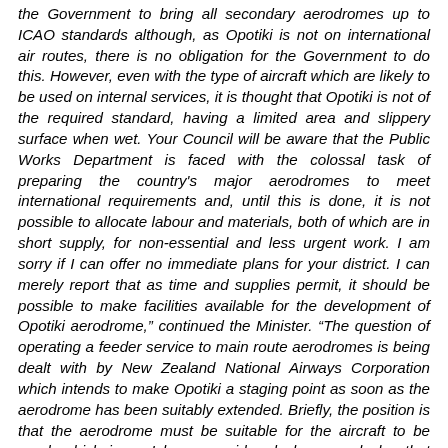the Government to bring all secondary aerodromes up to ICAO standards although, as Opotiki is not on international air routes, there is no obligation for the Government to do this. However, even with the type of aircraft which are likely to be used on internal services, it is thought that Opotiki is not of the required standard, having a limited area and slippery surface when wet. Your Council will be aware that the Public Works Department is faced with the colossal task of preparing the country's major aerodromes to meet international requirements and, until this is done, it is not possible to allocate labour and materials, both of which are in short supply, for non-essential and less urgent work. I am sorry if I can offer no immediate plans for your district. I can merely report that as time and supplies permit, it should be possible to make facilities available for the development of Opotiki aerodrome," continued the Minister. "The question of operating a feeder service to main route aerodromes is being dealt with by New Zealand National Airways Corporation which intends to make Opotiki a staging point as soon as the aerodrome has been suitably extended. Briefly, the position is that the aerodrome must be suitable for the aircraft to be used, which issue I have considered above, and also that until the Corporation has completed its survey of Dominion air routes it will not be possible to determine with exactitude the extent of the feeder service necessary. I have no doubt that Opotiki will receive the commercial facilities to which it is